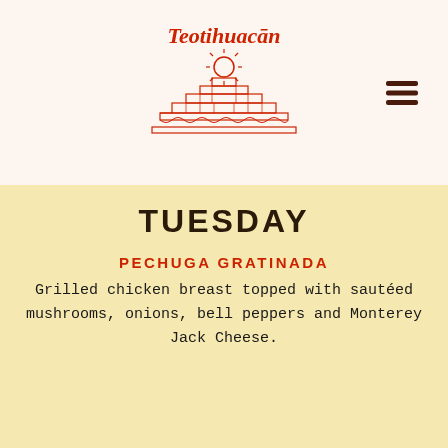[Figure (logo): Teotihuacan restaurant logo with pyramid illustration in red, script text 'Teotihuacan' at top]
TUESDAY
PECHUGA GRATINADA
Grilled chicken breast topped with sautéed mushrooms, onions, bell peppers and Monterey Jack Cheese.
[Figure (photo): Plate of Pechuga Gratinada with grilled chicken topped with cream sauce and mushrooms, served with rice, pico de gallo salad, and a bowl of beans]